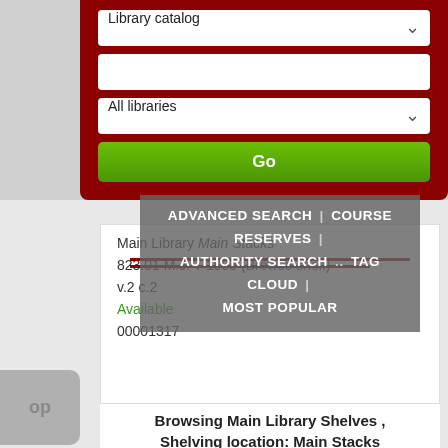[Figure (screenshot): Library catalog search interface with dark red background, dropdown for 'Library catalog', text input field, dropdown for 'All libraries', and green Go button]
ADVANCED SEARCH | COURSE RESERVES | AUTHORITY SEARCH .. TAG CLOUD | MOST POPULAR
Main Library Main Stacks
823.01 M.J. T 1995 (Browse shelf)
v.2 c.2
Available
00001317
Browsing Main Library Shelves , Shelving location: Main Stacks